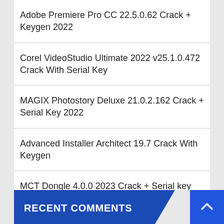Adobe Premiere Pro CC 22.5.0.62 Crack + Keygen 2022
Corel VideoStudio Ultimate 2022 v25.1.0.472 Crack With Serial Key
MAGIX Photostory Deluxe 21.0.2.162 Crack + Serial Key 2022
Advanced Installer Architect 19.7 Crack With Keygen
MCT Dongle 4.0.0 2023 Crack + Serial key 2022
RECENT COMMENTS